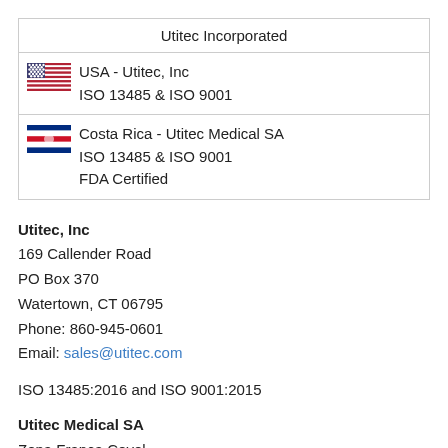| Utitec Incorporated |
| --- |
| USA - Utitec, Inc
ISO 13485 & ISO 9001 |
| Costa Rica - Utitec Medical SA
ISO 13485 & ISO 9001
FDA Certified |
Utitec, Inc
169 Callender Road
PO Box 370
Watertown, CT 06795
Phone: 860-945-0601
Email: sales@utitec.com
ISO 13485:2016 and ISO 9001:2015
Utitec Medical SA
Zona Franca Coyol
Building B-15